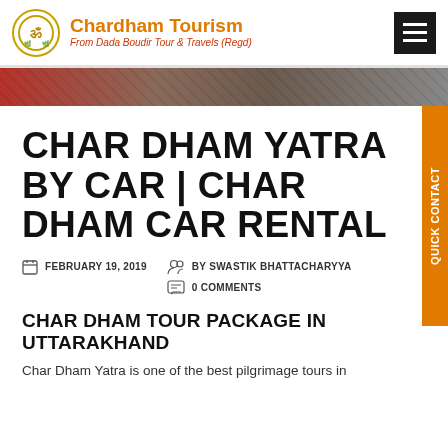Chardham Tourism — From Dada Boudir Tour & Travels (Regd)
[Figure (photo): Hero image strip showing a pilgrimage site with reddish and grey tones]
CHAR DHAM YATRA BY CAR | CHAR DHAM CAR RENTAL
FEBRUARY 19, 2019   BY SWASTIK BHATTACHARYYA   0 COMMENTS
CHAR DHAM TOUR PACKAGE IN UTTARAKHAND
Char Dham Yatra is one of the best pilgrimage tours in